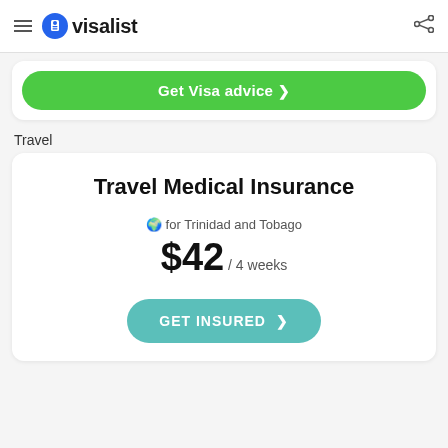visalist
Get Visa advice >
Travel
Travel Medical Insurance
🌍 for Trinidad and Tobago
$42 / 4 weeks
GET INSURED >